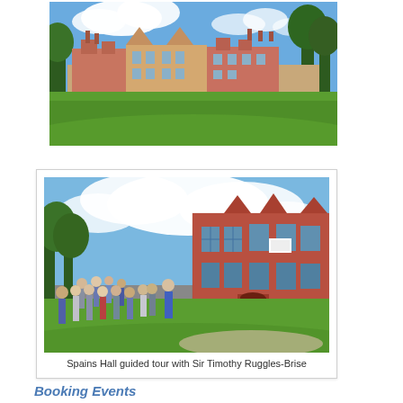[Figure (photo): Aerial/ground-level view of a large English country house or manor with red brick walls, multiple chimneys, surrounded by green lawn and large trees under a blue sky with clouds.]
[Figure (photo): Group of visitors on a guided tour standing on a green lawn in front of Spains Hall, a large red brick Elizabethan manor house, with a man in a blue shirt appearing to address the group.]
Spains Hall guided tour with Sir Timothy Ruggles-Brise
Booking Events